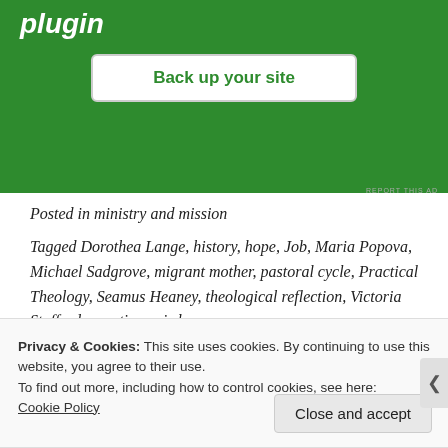[Figure (screenshot): Green advertisement banner with bold italic white text 'plugin' and a white button labeled 'Back up your site' in green text]
REPORT THIS AD
Posted in ministry and mission
Tagged Dorothea Lange, history, hope, Job, Maria Popova, Michael Sadgrove, migrant mother, pastoral cycle, Practical Theology, Seamus Heaney, theological reflection, Victoria Stafford, vocation, wisdom
Privacy & Cookies: This site uses cookies. By continuing to use this website, you agree to their use.
To find out more, including how to control cookies, see here: Cookie Policy
Close and accept